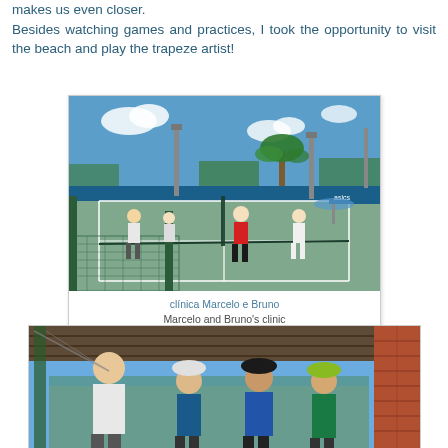makes us even closer. Besides watching games and practices, I took the opportunity to visit the beach and play the trapeze artist!
[Figure (photo): Tennis court practice session with multiple players on a blue hard court, palm trees and blue sky in background, chain-link fence in foreground]
clínica Marcelo e Bruno
Marcelo and Bruno's clinic
[Figure (photo): Group of people standing under a covered area near tennis courts, tropical setting with brick pillar visible]